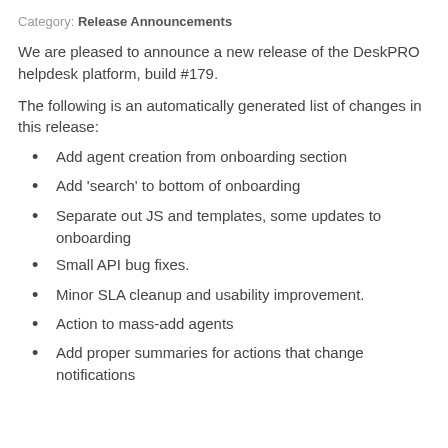Category: Release Announcements
We are pleased to announce a new release of the DeskPRO helpdesk platform, build #179.
The following is an automatically generated list of changes in this release:
Add agent creation from onboarding section
Add 'search' to bottom of onboarding
Separate out JS and templates, some updates to onboarding
Small API bug fixes.
Minor SLA cleanup and usability improvement.
Action to mass-add agents
Add proper summaries for actions that change notifications